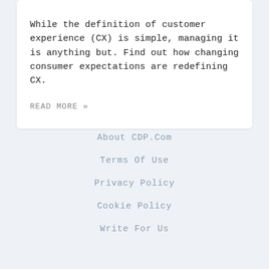While the definition of customer experience (CX) is simple, managing it is anything but. Find out how changing consumer expectations are redefining CX.
READ MORE »
About CDP.Com
Terms Of Use
Privacy Policy
Cookie Policy
Write For Us